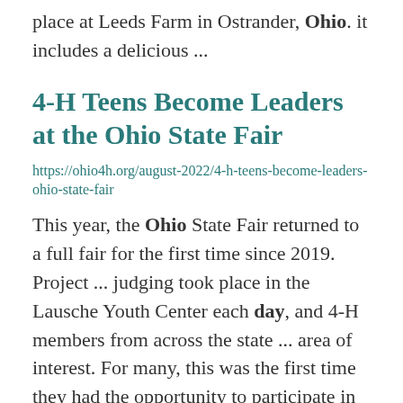place at Leeds Farm in Ostrander, Ohio. it includes a delicious ...
4-H Teens Become Leaders at the Ohio State Fair
https://ohio4h.org/august-2022/4-h-teens-become-leaders-ohio-state-fair
This year, the Ohio State Fair returned to a full fair for the first time since 2019. Project ... judging took place in the Lausche Youth Center each day, and 4-H members from across the state ... area of interest. For many, this was the first time they had the opportunity to participate in the Ohio ...